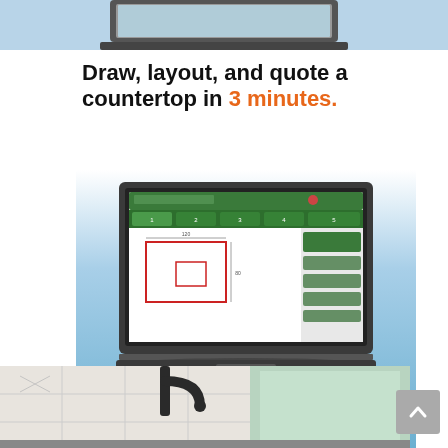[Figure (photo): Top portion of a laptop computer, showing the top edge and lid, cropped at the top of the page]
Draw, layout, and quote a countertop in 3 minutes.
[Figure (screenshot): Advertisement for Moraware software showing a laptop with countertop layout software on screen, on a blue gradient background, with the Moraware logo at the bottom]
[Figure (photo): Bottom strip showing a kitchen scene with a dark faucet, marble-look backsplash, and window]